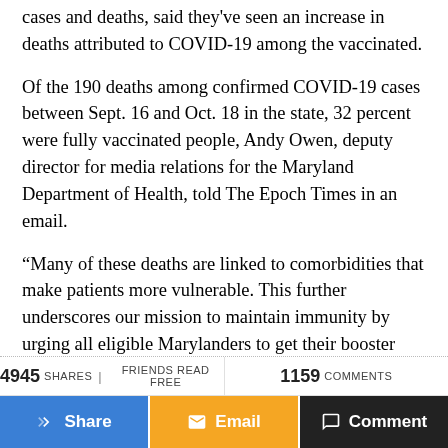cases and deaths, said they've seen an increase in deaths attributed to COVID-19 among the vaccinated.
Of the 190 deaths among confirmed COVID-19 cases between Sept. 16 and Oct. 18 in the state, 32 percent were fully vaccinated people, Andy Owen, deputy director for media relations for the Maryland Department of Health, told The Epoch Times in an email.
“Many of these deaths are linked to comorbidities that make patients more vulnerable. This further underscores our mission to maintain immunity by urging all eligible Marylanders to get their booster
4945 SHARES | FRIENDS READ FREE   1159 COMMENTS   [Share] [Email] [Comment]